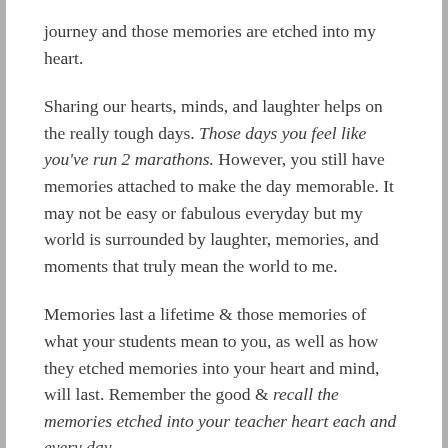journey and those memories are etched into my heart.
Sharing our hearts, minds, and laughter helps on the really tough days. Those days you feel like you've run 2 marathons. However, you still have memories attached to make the day memorable. It may not be easy or fabulous everyday but my world is surrounded by laughter, memories, and moments that truly mean the world to me.
Memories last a lifetime & those memories of what your students mean to you, as well as how they etched memories into your heart and mind, will last. Remember the good & recall the memories etched into your teacher heart each and every day.